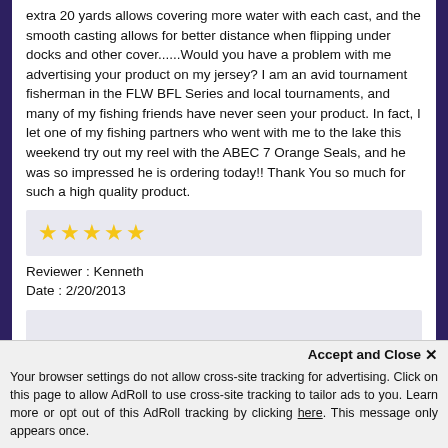extra 20 yards allows covering more water with each cast, and the smooth casting allows for better distance when flipping under docks and other cover......Would you have a problem with me advertising your product on my jersey? I am an avid tournament fisherman in the FLW BFL Series and local tournaments, and many of my fishing friends have never seen your product. In fact, I let one of my fishing partners who went with me to the lake this weekend try out my reel with the ABEC 7 Orange Seals, and he was so impressed he is ordering today!! Thank You so much for such a high quality product.
[Figure (other): Five gold star rating in a light grey/blue box]
Reviewer : Kenneth
Date : 2/20/2013
[Figure (other): Empty light grey/blue box for next review stars]
I am impressed with the fast shipping and the easy to use application info on your website.
Accept and Close ✕
Your browser settings do not allow cross-site tracking for advertising. Click on this page to allow AdRoll to use cross-site tracking to tailor ads to you. Learn more or opt out of this AdRoll tracking by clicking here. This message only appears once.